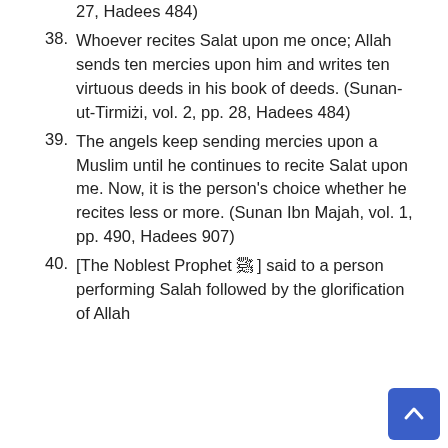27, Hadees 484)
38. Whoever recites Salat upon me once; Allah sends ten mercies upon him and writes ten virtuous deeds in his book of deeds. (Sunan-ut-Tirmizi, vol. 2, pp. 28, Hadees 484)
39. The angels keep sending mercies upon a Muslim until he continues to recite Salat upon me. Now, it is the person's choice whether he recites less or more. (Sunan Ibn Majah, vol. 1, pp. 490, Hadees 907)
40. [The Noblest Prophet ص] said to a person performing Salah followed by the glorification of Allah